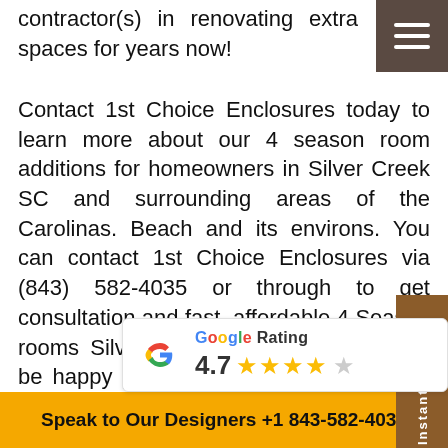contractor(s) in renovating extra spaces for years now!
Contact 1st Choice Enclosures today to learn more about our 4 season room additions for homeowners in Silver Creek SC and surrounding areas of the Carolinas. Beach and its environs. You can contact 1st Choice Enclosures via (843) 582-4035 or through to get consultation and fast, affordable 4 Season rooms Silver Creek SC estimate. You'll be happy you made that call! Call today and fix an appointment, at a convenient time with your schedule, our friendly and professional 4 Season rooms Silver Creek SC technicians will come over to your home and discuss with you about your 4 season room addition needs in Silver Creek SC and surrounding areas of the Carolinas. 1st Choice Enclosures adaptable all-season
[Figure (other): Google Rating badge showing 4.7 stars with Google G logo]
Speak to Our Designers +1 843-582-4035